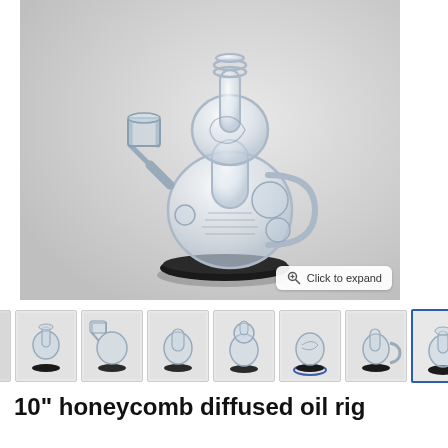[Figure (photo): Clear glass honeycomb diffused oil rig water pipe with quartz banger attachment, sitting on a black rubber base, against a gray-white background.]
[Figure (photo): Thumbnail gallery showing 8 different views/angles of the glass oil rig, with the last thumbnail highlighted with a blue border.]
10" honeycomb diffused oil rig